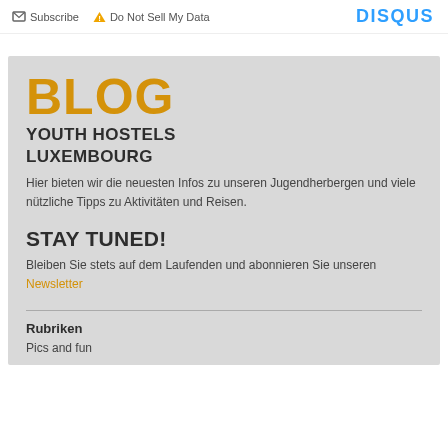Subscribe  Do Not Sell My Data   DISQUS
BLOG
YOUTH HOSTELS LUXEMBOURG
Hier bieten wir die neuesten Infos zu unseren Jugendherbergen und viele nützliche Tipps zu Aktivitäten und Reisen.
STAY TUNED!
Bleiben Sie stets auf dem Laufenden und abonnieren Sie unseren Newsletter
Rubriken
Pics and fun